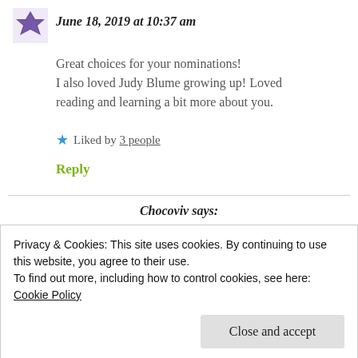June 18, 2019 at 10:37 am
Great choices for your nominations! I also loved Judy Blume growing up! Loved reading and learning a bit more about you.
★ Liked by 3 people
Reply
Chocoviv says:
Privacy & Cookies: This site uses cookies. By continuing to use this website, you agree to their use.
To find out more, including how to control cookies, see here: Cookie Policy
Close and accept